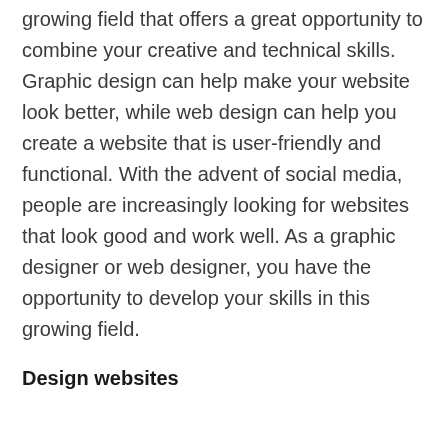growing field that offers a great opportunity to combine your creative and technical skills. Graphic design can help make your website look better, while web design can help you create a website that is user-friendly and functional. With the advent of social media, people are increasingly looking for websites that look good and work well. As a graphic designer or web designer, you have the opportunity to develop your skills in this growing field.
Design websites